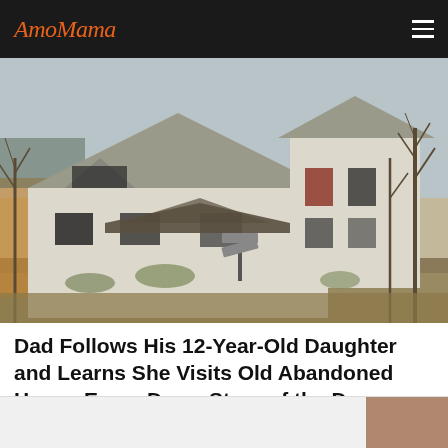AmoMama
[Figure (photo): Photograph of an old abandoned white two-story house with broken windows, collapsed porch roof, overgrown yard, bare trees, and a street sign in front. Taken in winter/early spring.]
Dad Follows His 12-Year-Old Daughter and Learns She Visits Old Abandoned House Every Day – Story of the Day
February 10, 2022